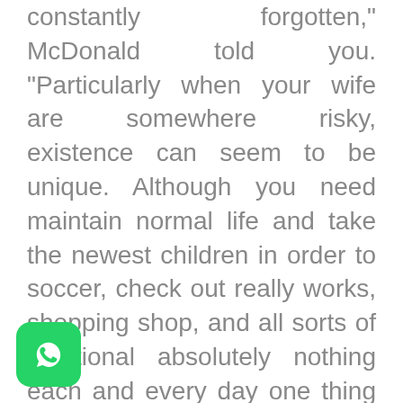constantly forgotten," McDonald told you. "Particularly when your wife are somewhere risky, existence can seem to be unique. Although you need maintain normal life and take the newest children in order to soccer, check out really works, shopping shop, and all sorts of additional absolutely nothing each and every day one thing in daily life, there is certainly a steady undercurrent off care ? curious in which they are while these include Okay."
I expected army spouses to share some of ir conditions off insights regarding w long-point people ? armed forces or
[Figure (logo): WhatsApp logo icon — green rounded square with white phone handset inside a speech bubble]